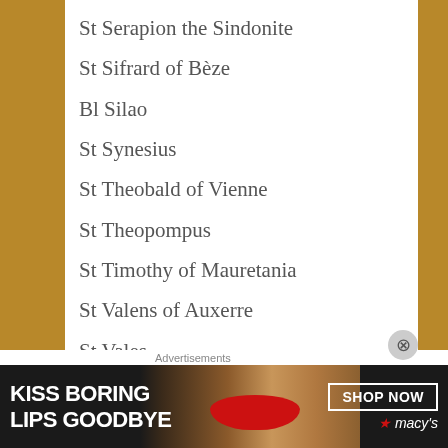St Serapion the Sindonite
St Sifrard of Bèze
Bl Silao
St Synesius
St Theobald of Vienne
St Theopompus
St Timothy of Mauretania
St Valens of Auxerre
St Vales
St Victorius of Caesarea
Martyrs of Egypt: Large number of Bishops, Priests, Deacons and lay people banished when the Arian heretics seized the diocese of Alexandria
[Figure (other): Advertisement banner for Macy's: 'KISS BORING LIPS GOODBYE' with SHOP NOW button and Macy's star logo]